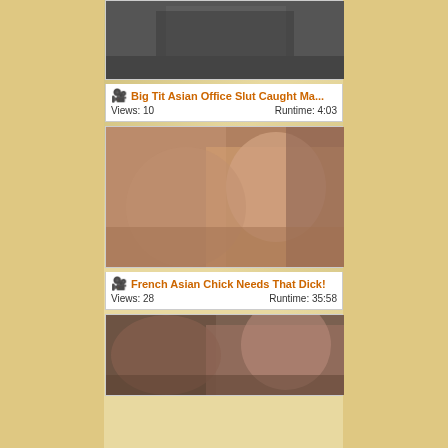[Figure (screenshot): Video thumbnail with Brazzers.com/Free banner, adult content]
🎥 Big Tit Asian Office Slut Caught Ma...
Views: 10    Runtime: 4:03
[Figure (screenshot): Video thumbnail, adult content]
🎥 French Asian Chick Needs That Dick!
Views: 28    Runtime: 35:58
[Figure (screenshot): Video thumbnail partial, adult content]